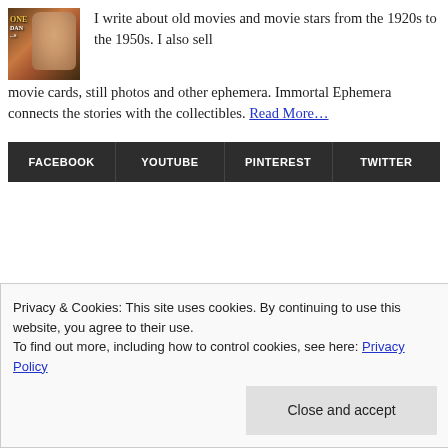[Figure (photo): Profile photo of a man next to a movie poster reading 'ONE DAN...S']
I write about old movies and movie stars from the 1920s to the 1950s. I also sell movie cards, still photos and other ephemera. Immortal Ephemera connects the stories with the collectibles. Read More…
FACEBOOK   YOUTUBE   PINTEREST   TWITTER
Privacy & Cookies: This site uses cookies. By continuing to use this website, you agree to their use.
To find out more, including how to control cookies, see here: Privacy Policy
Close and accept